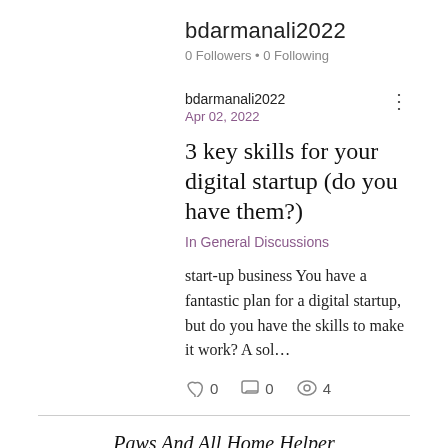bdarmanali2022
0 Followers • 0 Following
bdarmanali2022
Apr 02, 2022
3 key skills for your digital startup (do you have them?)
In General Discussions
start-up business You have a fantastic plan for a digital startup, but do you have the skills to make it work? A sol…
0  0  4
Paws And All Home Helper